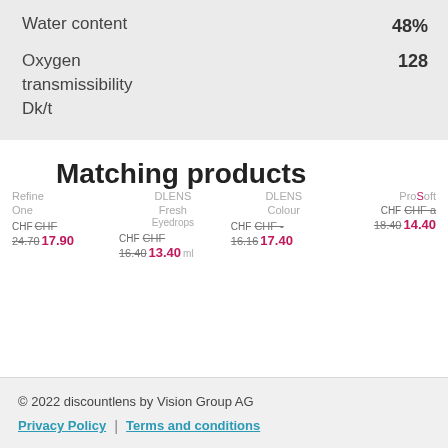Water content   48%
Oxygen transmissibility Dk/t   128
Matching products
Refine One   CHF CHF 24.70 17.90
DLENS Fresh Eyedrops   CHF CHF 16.40 13.40 ml
DLENS Colour   CHF CHF - 16.16 17.40
ProSoft   CHF CHF 18.40 14.40
© 2022 discountlens by Vision Group AG
Privacy Policy | Terms and conditions